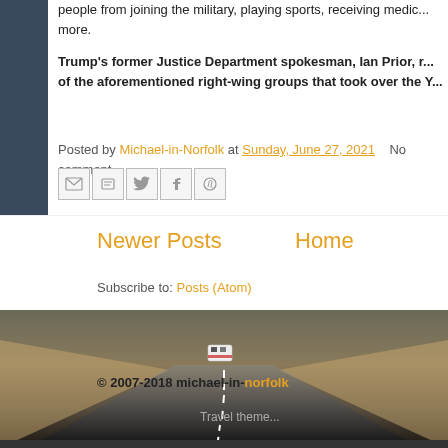people from joining the military, playing sports, receiving medic... more.
Trump's former Justice Department spokesman, Ian Prior, r... of the aforementioned right-wing groups that took over the Y...
Posted by Michael-in-Norfolk at Sunday, June 27, 2021   No comment...
[Figure (screenshot): Social share buttons: Email, BlogThis, Twitter, Facebook, Pinterest]
Newer Posts
Home
Subscribe to: Posts (Atom)
[Figure (photo): Desert road scene with a white bus/vehicle driving away into the distance, sandy landscape on both sides]
© 2007-2018 michael-in-norfolk
Travel theme...